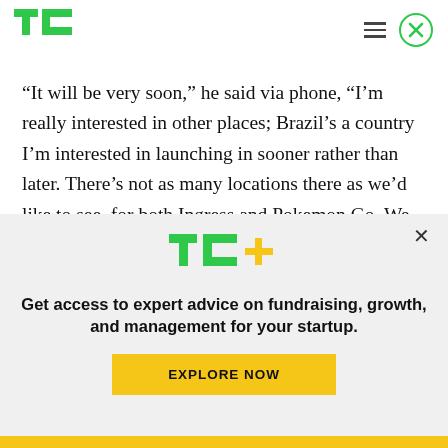TechCrunch header with TC logo, hamburger menu, and close button
“It will be very soon,” he said via phone, “I’m really interested in other places; Brazil’s a country I’m interested in launching in sooner rather than later. There’s not as many locations there as we’d like to see, for both Ingress and Pokemon Go. We don’t have a prefixed timeline, but we’ll do it as soon as we get comfortable."
[Figure (logo): TC+ logo in green with yellow plus sign]
Get access to expert advice on fundraising, growth, and management for your startup.
EXPLORE NOW